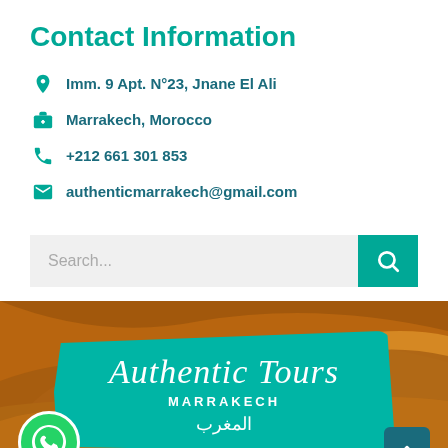Contact Information
Imm. 9 Apt. N°23, Jnane El Ali
Marrakech, Morocco
+212 661 301 853
authenticmarrakech@gmail.com
[Figure (screenshot): Search bar with teal search button containing a magnifying glass icon]
[Figure (photo): Desert sand dunes background (brown/orange tones) with an 'Authentic Tours Marrakech المغرب' logo on a teal paint-stroke background, a WhatsApp button bottom-left and a scroll-up button bottom-right]